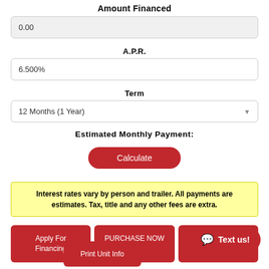Amount Financed
0.00
A.P.R.
6.500%
Term
12 Months (1 Year)
Estimated Monthly Payment:
Calculate
Interest rates vary by person and trailer. All payments are estimates. Tax, title and any other fees are extra.
Apply For Financing
PURCHASE NOW
Request More Info
Text us!
Print Unit Info